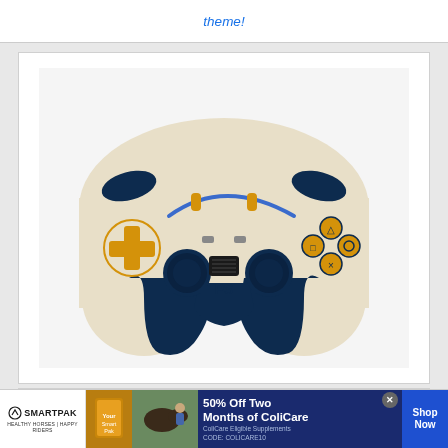theme!
[Figure (photo): A PS5 DualSense controller with a cream/beige body and dark navy blue accents and grips. The buttons (D-pad, face buttons, triggers) are metallic gold/yellow colored, and the analog sticks are dark navy. The touchpad area shows a PlayStation logo. The controller has a blue LED light strip.]
Simply taking the existing metallic gold theme and adding some
[Figure (photo): SmartPak advertisement banner featuring logo, a product package, a horse with a person, and text reading '50% Off Two Months of ColiCare. ColiCare Eligible Supplements. CODE: COLICARE10'. Shop Now button on right.]